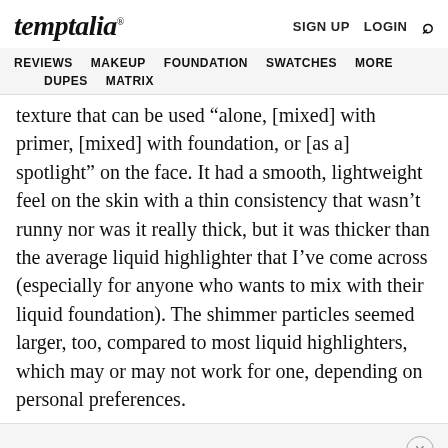temptalia® | SIGN UP  LOGIN
REVIEWS  MAKEUP  FOUNDATION  SWATCHES  MORE  DUPES  MATRIX
texture that can be used “alone, [mixed] with primer, [mixed] with foundation, or [as a] spotlight” on the face. It had a smooth, lightweight feel on the skin with a thin consistency that wasn’t runny nor was it really thick, but it was thicker than the average liquid highlighter that I’ve come across (especially for anyone who wants to mix with their liquid foundation). The shimmer particles seemed larger, too, compared to most liquid highlighters, which may or may not work for one, depending on personal preferences.